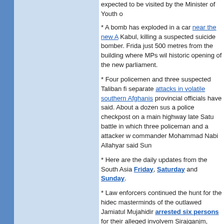expected to be visited by the Minister of Youth o
* A bomb has exploded in a car near the new A... Kabul, killing a suspected suicide bomber. Frida... just 500 metres from the building where MPs wil... historic opening of the new parliament.
* Four policemen and three suspected Taliban fi... separate attacks in volatile southern Afghanis... provincial officials have said. About a dozen sus... a police checkpost on a main highway late Satu... battle in which three policeman and a attacker w... commander Mohammad Nabi Allahyar said Sun...
* Here are the daily updates from the South Asia... Friday, Saturday and Sunday.
* Law enforcers continued the hunt for the hideo... masterminds of the outlawed Jamiatul Mujahidir... arrested six persons for their alleged involvem... Sirajganjm, Chapai Nawabganj and Gazipur are
* Security forces in Bangladesh say they have a... a banned Islamic militant group blamed for a... bombings. The suspected operations command...